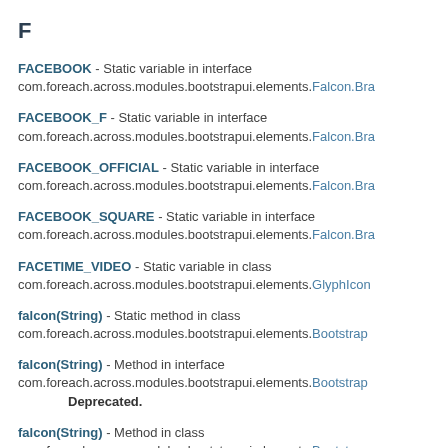F
FACEBOOK - Static variable in interface com.foreach.across.modules.bootstrapui.elements.Falcon.Bra
FACEBOOK_F - Static variable in interface com.foreach.across.modules.bootstrapui.elements.Falcon.Bra
FACEBOOK_OFFICIAL - Static variable in interface com.foreach.across.modules.bootstrapui.elements.Falcon.Bra
FACEBOOK_SQUARE - Static variable in interface com.foreach.across.modules.bootstrapui.elements.Falcon.Bra
FACETIME_VIDEO - Static variable in class com.foreach.across.modules.bootstrapui.elements.GlyphIcon
falcon(String) - Static method in class com.foreach.across.modules.bootstrapui.elements.Bootstrap
falcon(String) - Method in interface com.foreach.across.modules.bootstrapui.elements.Bootstrap
Deprecated.
falcon(String) - Method in class com.foreach.across.modules.bootstrapui.elements.Bootstrap